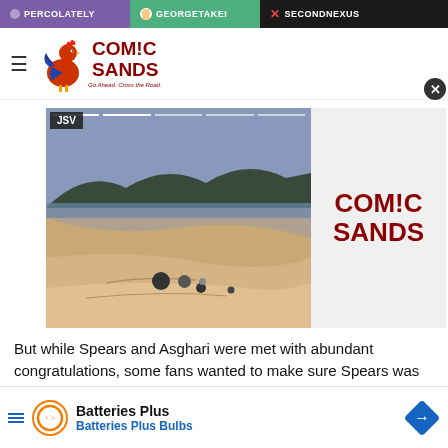PERCOLATELY | GEORGETAKEI | SECONDNEXUS
[Figure (logo): Comic Sands logo with rooster illustration and tagline]
[Figure (screenshot): JSV video player showing beach/sand dune scene with navigation dots and progress bar, alongside Comic Sands logo panel]
But while Spears and Asghari were met with abundant congratulations, some fans wanted to make sure S...
[Figure (infographic): Batteries Plus / Batteries Plus Bulbs advertisement banner with orange circular logo and blue navigation arrow]